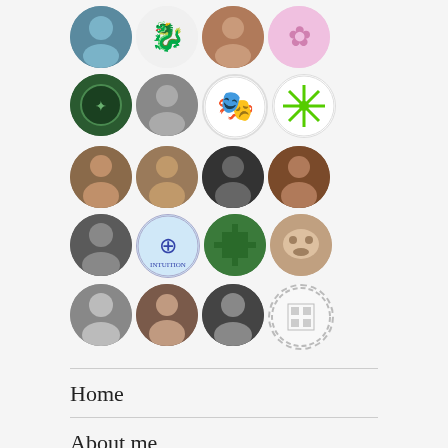[Figure (other): Grid of circular avatar profile pictures arranged in rows, showing various user profile images including people, logos, animals, and icons]
Home
About me
Cognitive Behavioural Coaching
What I offer
How to get help (partial, cut off)